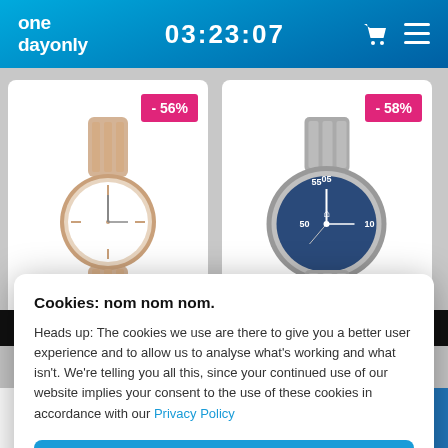one dayonly  03:23:07
[Figure (photo): Rose gold ladies Emporio Armani watch with -56% discount badge]
[Figure (photo): Silver/blue mens Emporio Armani watch with -58% discount badge]
SHOP 12 MORE DEALS
Cookies: nom nom nom.
Heads up: The cookies we use are there to give you a better user experience and to allow us to analyse what's working and what isn't. We're telling you all this, since your continued use of our website implies your consent to the use of these cookies in accordance with our Privacy Policy
GOT IT